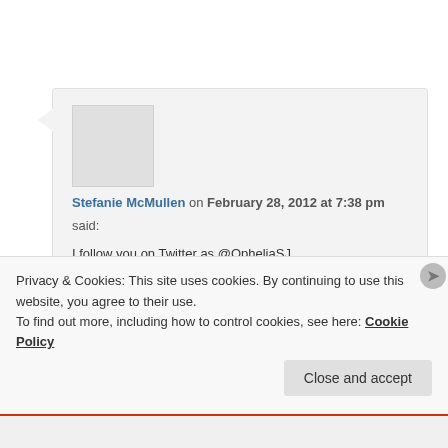[Figure (screenshot): Avatar placeholder image, light gray square]
Stefanie McMullen on February 28, 2012 at 7:38 pm
said:
I follow you on Twitter as @OpheliaSJ
Stefanie McMullen
sweet_ophelia[AT]hotmail[DOT]ca
Privacy & Cookies: This site uses cookies. By continuing to use this website, you agree to their use.
To find out more, including how to control cookies, see here: Cookie Policy
Close and accept